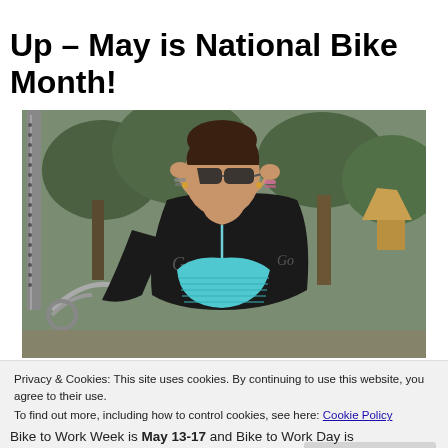Up – May is National Bike Month!
[Figure (photo): A woman wearing sunglasses and a turquoise bikini top with a black jacket adjusts her sunglasses outdoors. A bicycle is visible to her left, with trees in the background.]
Privacy & Cookies: This site uses cookies. By continuing to use this website, you agree to their use.
To find out more, including how to control cookies, see here: Cookie Policy
Bike to Work Week is May 13-17 and Bike to Work Day is